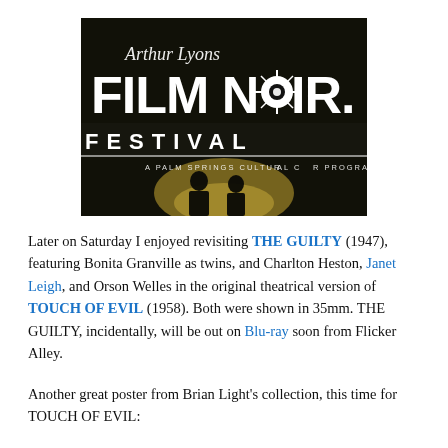[Figure (photo): Arthur Lyons Film Noir Festival sign projected on a screen with two silhouettes standing in front of it on a stage, with a spotlight effect. Text reads 'Arthur Lyons FILM NOIR FESTIVAL - A PALM SPRINGS CULTURAL CENTER PROGRAM'.]
Later on Saturday I enjoyed revisiting THE GUILTY (1947), featuring Bonita Granville as twins, and Charlton Heston, Janet Leigh, and Orson Welles in the original theatrical version of TOUCH OF EVIL (1958). Both were shown in 35mm. THE GUILTY, incidentally, will be out on Blu-ray soon from Flicker Alley.
Another great poster from Brian Light's collection, this time for TOUCH OF EVIL: